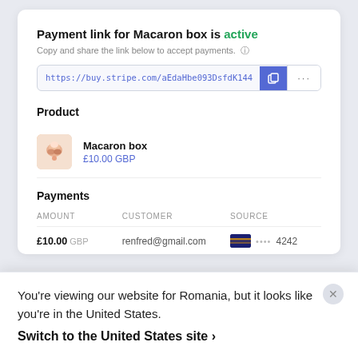Payment link for Macaron box is active
Copy and share the link below to accept payments.
https://buy.stripe.com/aEdaHbe093DsfdK144
Product
Macaron box
£10.00 GBP
Payments
| AMOUNT | CUSTOMER | SOURCE |
| --- | --- | --- |
| £10.00 GBP | renfred@gmail.com | •••• 4242 |
| £10.00 GBP | jackerman@hotmail.com | •••• 5556 |
| £10.00 GBP | lredd@gmail.com | •••• 8210 |
| £10.00 GBP | arjunm@yahoo.com | •••• 8001 |
| £10.00 GBP | mbarrett@outlook.com | •••• 8431 |
You're viewing our website for Romania, but it looks like you're in the United States.
Switch to the United States site ›